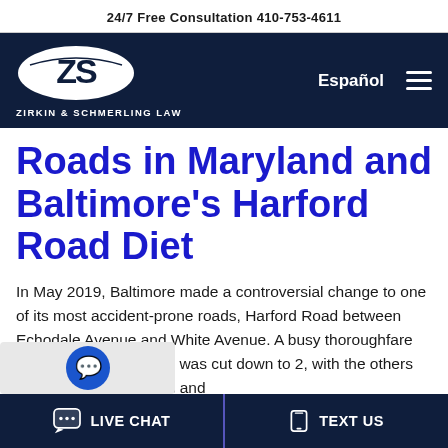24/7 Free Consultation 410-753-4611
[Figure (logo): Zirkin & Schmerling Law logo — white oval with stylized ZS letters, white text below reading ZIRKIN & SCHMERLING LAW on dark navy background. Navigation includes Español link and hamburger menu icon.]
Roads in Maryland and Baltimore's Harford Road Diet
In May 2019, Baltimore made a controversial change to one of its most accident-prone roads, Harford Road between Echodale Avenue and White Avenue. A busy thoroughfare with four lanes of traffic was cut down to 2, with the others converted to bike lanes and
LIVE CHAT   TEXT US